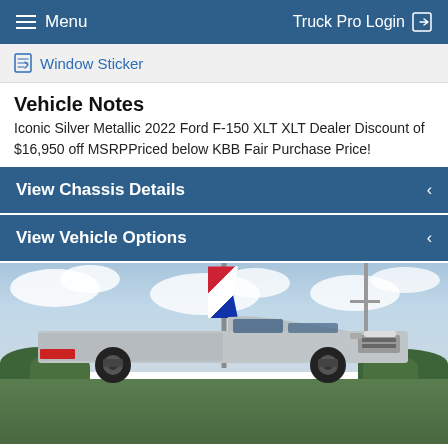Menu    Truck Pro Login
Window Sticker
Vehicle Notes
Iconic Silver Metallic 2022 Ford F-150 XLT XLT Dealer Discount of $16,950 off MSRPPriced below KBB Fair Purchase Price!
View Chassis Details
View Vehicle Options
[Figure (photo): Silver 2022 Ford F-150 XLT pickup truck with lifted suspension and large off-road wheels, parked in a dealership lot with blue sky, clouds, and trees in the background. A flag banner on a pole and a power pole are visible.]